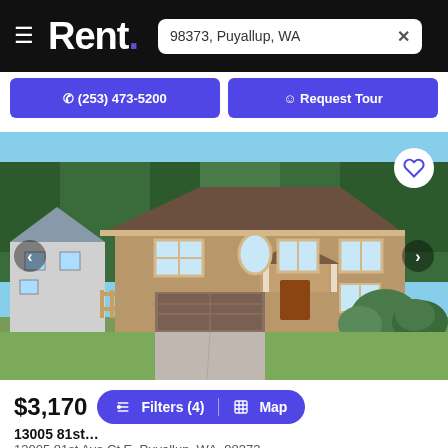Rent. — 98373, Puyallup, WA
(253) 473-5200   Request Tour
[Figure (photo): Two-story craftsman-style house with brown shingle siding, dark brown garage door, and manicured landscaping in Puyallup, WA]
$3,170  Filters (4)  Map
13005 81st Ave Ct E, Puyallup, WA, 98373